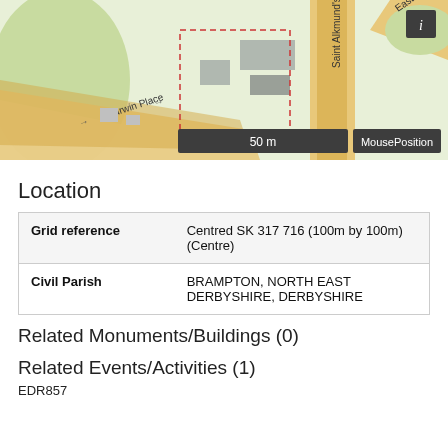[Figure (map): Street map showing Darwin Place, Saint Alkmund's Way, and EastGate area in Derbyshire. Shows roads, buildings, green areas. Scale bar shows 50m. MousePosition and info (i) controls visible.]
Location
| Grid reference | Centred SK 317 716 (100m by 100m) (Centre) |
| Civil Parish | BRAMPTON, NORTH EAST DERBYSHIRE, DERBYSHIRE |
Related Monuments/Buildings (0)
Related Events/Activities (1)
EDR857